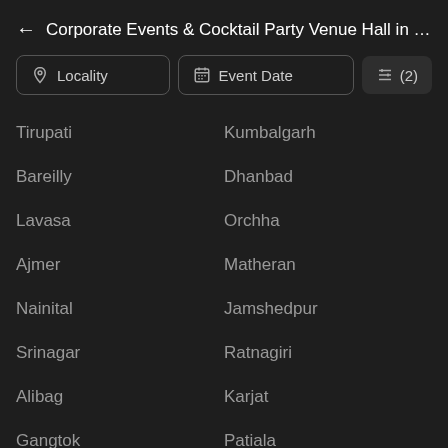← Corporate Events & Cocktail Party Venue Hall in Viman N
Locality | Event Date | (2)
Tirupati
Kumbalgarh
Bareilly
Dhanbad
Lavasa
Orchha
Ajmer
Matheran
Nainital
Jamshedpur
Srinagar
Ratnagiri
Alibag
Karjat
Gangtok
Patiala